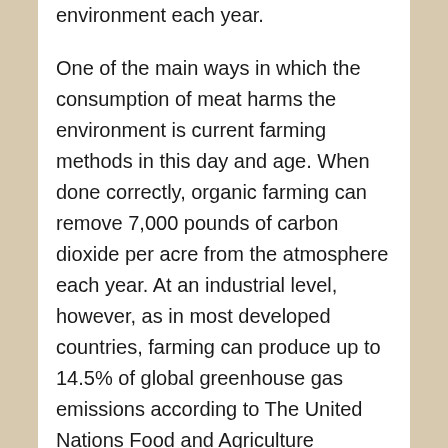environment each year.

One of the main ways in which the consumption of meat harms the environment is current farming methods in this day and age. When done correctly, organic farming can remove 7,000 pounds of carbon dioxide per acre from the atmosphere each year. At an industrial level, however, as in most developed countries, farming can produce up to 14.5% of global greenhouse gas emissions according to The United Nations Food and Agriculture Organization (FAO). Other organizations like the Worldwatch Institute estimate that it could be as high as 51%. Livestock production is mainly responsible for these huge amounts carbon dioxide production levels.